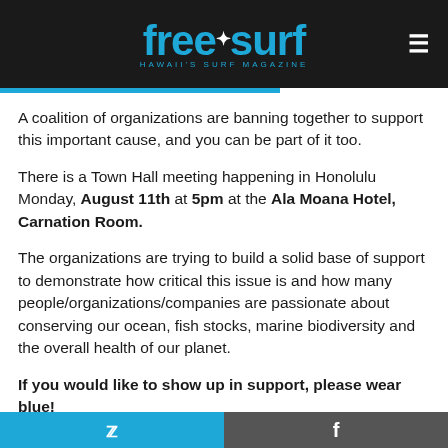freesurf HAWAII'S SURF MAGAZINE
A coalition of organizations are banning together to support this important cause, and you can be part of it too.
There is a Town Hall meeting happening in Honolulu Monday, August 11th at 5pm at the Ala Moana Hotel, Carnation Room.
The organizations are trying to build a solid base of support to demonstrate how critical this issue is and how many people/organizations/companies are passionate about conserving our ocean, fish stocks, marine biodiversity and the overall health of our planet.
If you would like to show up in support, please wear blue!